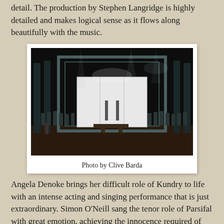detail. The production by Stephen Langridge is highly detailed and makes logical sense as it flows along beautifully with the music.
[Figure (photo): Opera stage production photo showing a large theatrical set with a rectangular metallic frame structure, chorus performers arranged on both sides, a bright white illuminated panel at the back center, and dramatic lighting with vertical columns. A soloist is visible on the forestage.]
Photo by Clive Barda
Angela Denoke brings her difficult role of Kundry to life with an intense acting and singing performance that is just extraordinary. Simon O'Neill sang the tenor role of Parsifal with great emotion, achieving the innocence required of this character and Rene Pape was an authoritative Gurnemanz. Gerald Finley was compelling as Amfortas and Willard White was commanding as Klingsor. As you would